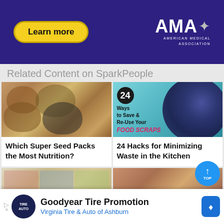[Figure (illustration): AMA American Medical Association advertisement banner with 'Learn more' button on dark purple background]
Related Content on SparkPeople
[Figure (photo): Various seeds in wooden bowls]
[Figure (infographic): 24 Ways to Save & Re-Use Your FOOD SCRAPS with berries image]
Which Super Seed Packs the Most Nutrition?
24 Hacks for Minimizing Waste in the Kitchen
[Figure (photo): Colorful cereals in boxes with '10 Cereals You Shouldn't Be Eating' text]
[Figure (photo): Food dish image]
[Figure (infographic): Goodyear Tire Promotion advertisement - Virginia Tire & Auto of Ashburn]